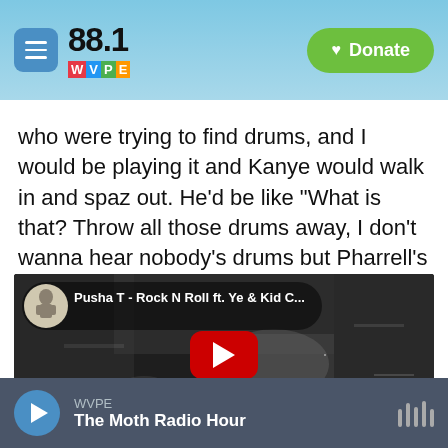88.1 WVPE | Donate
who were trying to find drums, and I would be playing it and Kanye would walk in and spaz out. He'd be like "What is that? Throw all those drums away, I don't wanna hear nobody's drums but Pharrell's drums on this record."
[Figure (screenshot): YouTube video thumbnail for 'Pusha T - Rock N Roll ft. Ye & Kid C...' showing a black and white image with a red YouTube play button in the center and a channel avatar on the upper left]
WVPE | The Moth Radio Hour